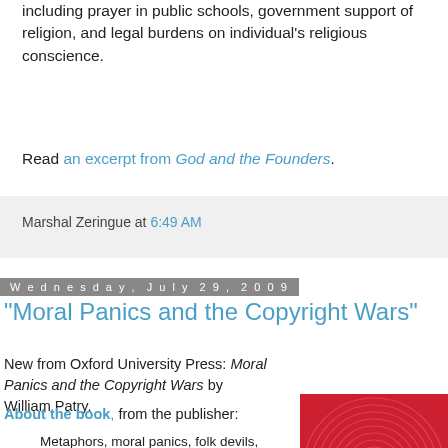including prayer in public schools, government support of religion, and legal burdens on individual's religious conscience.
Read an excerpt from God and the Founders.
Marshal Zeringue at 6:49 AM
Wednesday, July 29, 2009
"Moral Panics and the Copyright Wars"
New from Oxford University Press: Moral Panics and the Copyright Wars by William Patry.
About the book, from the publisher:
Metaphors, moral panics, folk devils, Jack Valenti, Joseph Schumpeter, John Maynard Keynes, predictable irrationality, and free market
[Figure (photo): Book cover of 'Moral Panics' with red background and circular concentric pattern with copyright symbol]